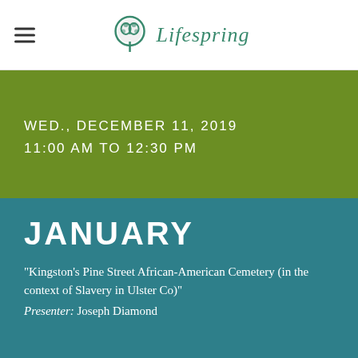Lifespring
WED., DECEMBER 11, 2019
11:00 AM TO 12:30 PM
JANUARY
"Kingston's Pine Street African-American Cemetery (in the context of Slavery in Ulster Co)"
Presenter: Joseph Diamond
WED., JANUARY 8, 2020